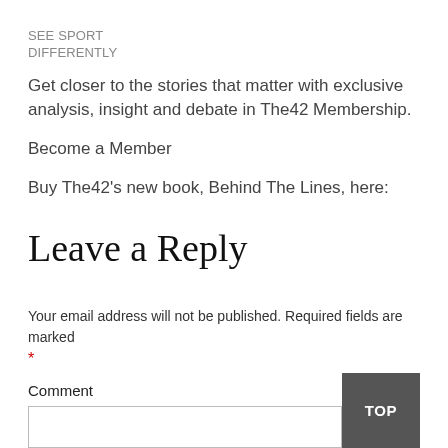SEE SPORT
DIFFERENTLY
Get closer to the stories that matter with exclusive analysis, insight and debate in The42 Membership.
Become a Member
Buy The42's new book, Behind The Lines, here:
Leave a Reply
Your email address will not be published. Required fields are marked
*
Comment